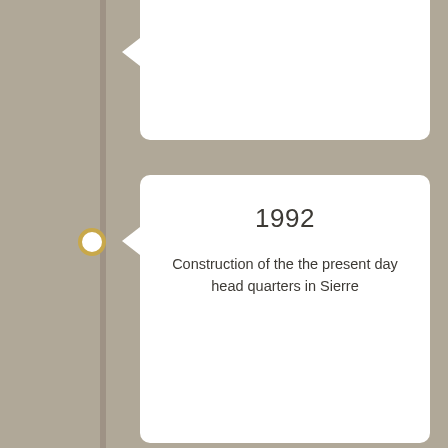[Figure (infographic): Vertical timeline infographic with golden circle markers on a taupe/grey background. Shows two visible timeline entries: 1992 - Construction of the the present day head quarters in Sierre; 1988 - Gilles Rey joins the company and N. Cordonier & G. Rey LLC is created. A third (earlier) card is partially visible at the top.]
1992
Construction of the the present day head quarters in Sierre
1988
Gilles Rey joins the company and N. Cordonier & G. Rey LLC is created